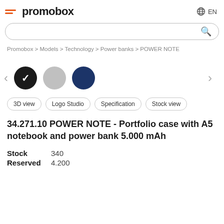promobox  EN
Promobox > Models > Technology > Power banks > POWER NOTE
[Figure (illustration): Three color swatches: black (selected with checkmark), gray, and navy blue, with left and right navigation arrows]
3D view  Logo Studio  Specification  Stock view
34.271.10 POWER NOTE - Portfolio case with A5 notebook and power bank 5.000 mAh
Stock 340
Reserved 4.200